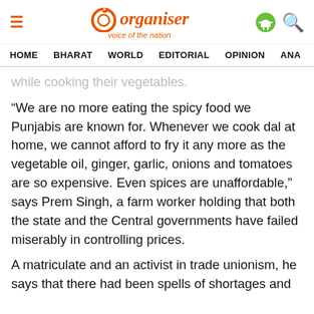[Figure (logo): Organiser magazine logo - orange circle with letter O, text 'organiser' in orange italic, tagline 'voice of the nation']
HOME  BHARAT  WORLD  EDITORIAL  OPINION  ANA
while cooking their vegetables.
“We are no more eating the spicy food we Punjabis are known for. Whenever we cook dal at home, we cannot afford to fry it any more as the vegetable oil, ginger, garlic, onions and tomatoes are so expensive. Even spices are unaffordable,” says Prem Singh, a farm worker holding that both the state and the Central governments have failed miserably in controlling prices.
A matriculate and an activist in trade unionism, he says that there had been spells of shortages and